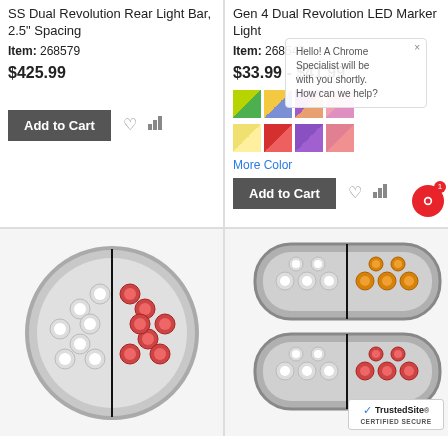SS Dual Revolution Rear Light Bar, 2.5" Spacing
Item: 268579
$425.99
Add to Cart
Gen 4 Dual Revolution LED Marker Light
Item: 268543
$33.99 - $41.99
More Color
Add to Cart
[Figure (photo): Round LED light with red and white LEDs, split design]
[Figure (photo): Oval LED marker lights with amber and white LEDs, split design, two units stacked]
[Figure (logo): TrustedSite Certified Secure badge]